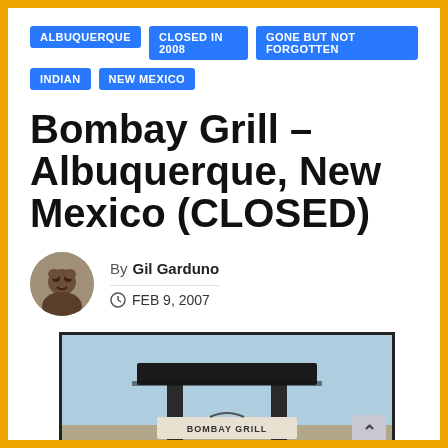ALBUQUERQUE
CLOSED IN 2008
GONE BUT NOT FORGOTTEN
INDIAN
NEW MEXICO
Bombay Grill – Albuquerque, New Mexico (CLOSED)
By Gil Garduno
FEB 9, 2007
[Figure (photo): Photograph of the Bombay Grill restaurant sign, showing a dark canopy-style sign structure with the restaurant name visible at the bottom, set against a light blue sky.]